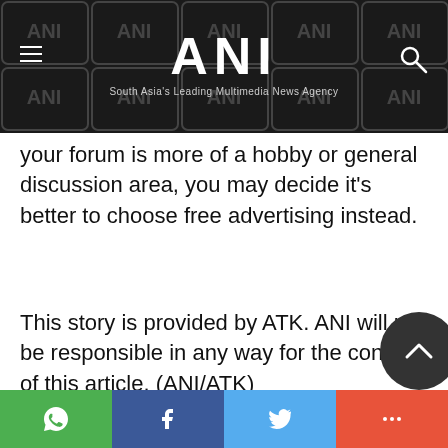ANI — South Asia's Leading Multimedia News Agency
your forum is more of a hobby or general discussion area, you may decide it's better to choose free advertising instead.
This story is provided by ATK. ANI will not be responsible in any way for the content of this article. (ANI/ATK)
TAGS  Networking  Source Web
WhatsApp  Facebook  Twitter  More